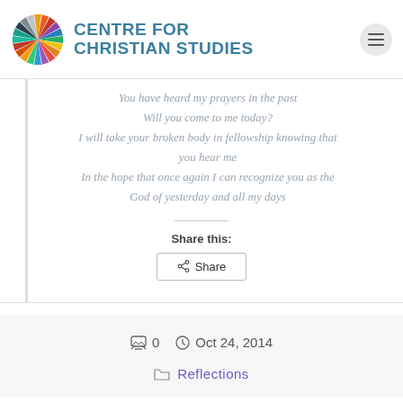[Figure (logo): Centre for Christian Studies logo with multicolored starburst/pinwheel icon and teal text reading CENTRE FOR CHRISTIAN STUDIES]
You have heard my prayers in the past
Will you come to me today?
I will take your broken body in fellowship knowing that you hear me
In the hope that once again I can recognize you as the God of yesterday and all my days
Share this:
Share
0  Oct 24, 2014
Reflections